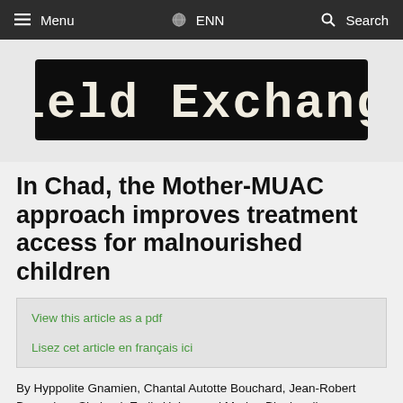Menu  ENN  Search
[Figure (logo): Field Exchange logo — white typewriter-style text on a rough black painted background]
In Chad, the Mother-MUAC approach improves treatment access for malnourished children
View this article as a pdf
Lisez cet article en français ici
By Hyppolite Gnamien, Chantal Autotte Bouchard, Jean-Robert Bwanaissa Shabani, Emily Helary and Marion Blanloeuil